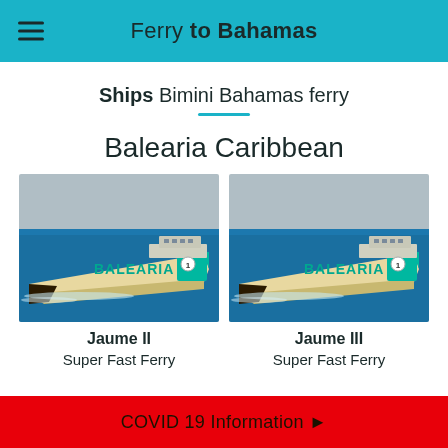Ferry to Bahamas
Ships Bimini Bahamas ferry
Balearia Caribbean
[Figure (photo): Balearia high-speed catamaran ferry on blue water, white and teal hull with BALEARIA branding]
Jaume II
Super Fast Ferry
[Figure (photo): Balearia high-speed catamaran ferry on blue water, white and teal hull with BALEARIA branding]
Jaume III
Super Fast Ferry
COVID 19 Information ▶